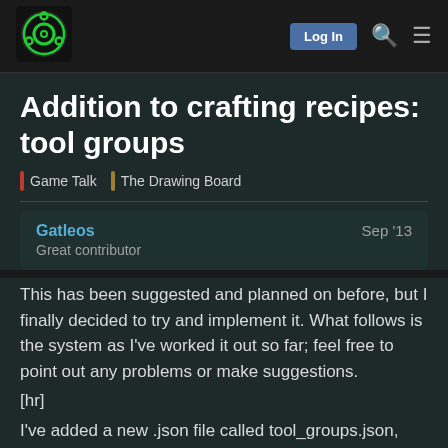Navigation bar with logo, login button, search, and menu icons
Addition to crafting recipes: tool groups
Game Talk | The Drawing Board
Gatleos   Sep '13
Great contributor
This has been suggested and planned on before, but I finally decided to try and implement it. What follows is the system as I've worked it out so far; feel free to point out any problems or make suggestions.
[hr]
I've added a new .json file called tool_groups.json, which has entries that look something like this:
{ "type":"tool_group", "id":"to...
"items":[ [ "rock", -1 ], [ "pr...
1 / 16